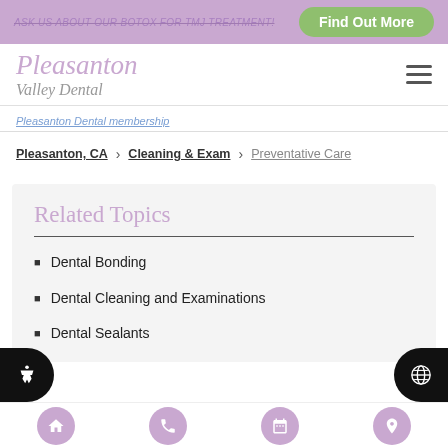ASK US ABOUT OUR BOTOX FOR TMJ TREATMENT!   Find Out More
[Figure (logo): Pleasanton Valley Dental logo with script and serif text]
Pleasanton Dental membership
Pleasanton, CA > Cleaning & Exam > Preventative Care
Related Topics
Dental Bonding
Dental Cleaning and Examinations
Dental Sealants